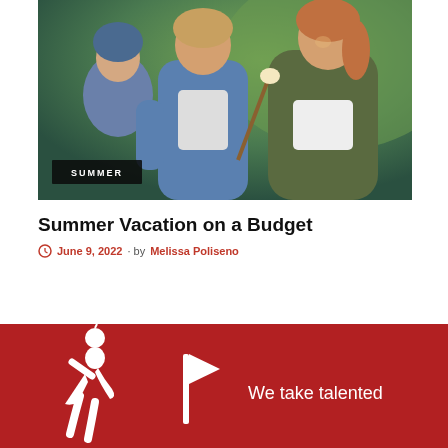[Figure (photo): Family at a campfire outdoor scene: a woman holds a toddler on the left and embraces a young girl roasting a marshmallow on a stick on the right, set against a green outdoor background. A dark badge reading 'SUMMER' is overlaid at the bottom left of the photo.]
Summer Vacation on a Budget
June 9, 2022 · by Melissa Poliseno
[Figure (logo): White figure/person icon with apple on dark red background in footer, along with a partial second icon, and the text 'We take talented']